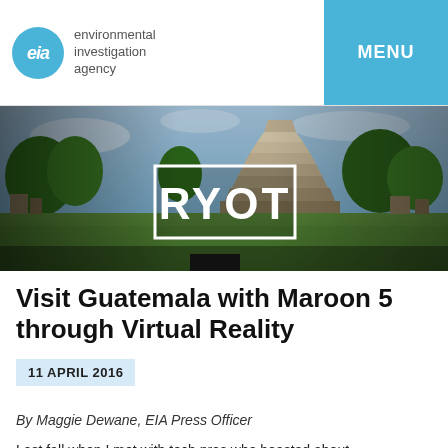environmental investigation agency | MENU
[Figure (photo): Wide panoramic photo of Guatemalan Maya ruins (Tikal) with large stone pyramid in background, green trees and grass foreground, overlaid with white-bordered RYOT logo box in center]
Visit Guatemala with Maroon 5 through Virtual Reality
11 APRIL 2016
By Maggie Dewane, EIA Press Officer
Last fall when I met with tech pros who boasted about